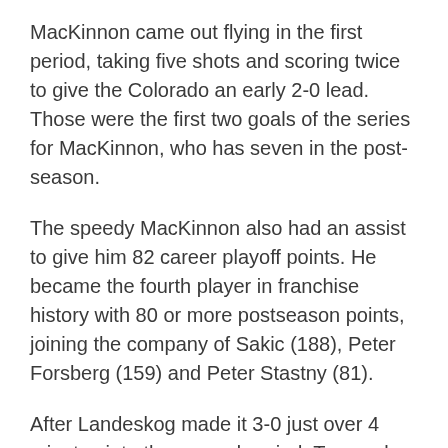MacKinnon came out flying in the first period, taking five shots and scoring twice to give the Colorado an early 2-0 lead. Those were the first two goals of the series for MacKinnon, who has seven in the post-season.
The speedy MacKinnon also had an assist to give him 82 career playoff points. He became the fourth player in franchise history with 80 or more postseason points, joining the company of Sakic (188), Peter Forsberg (159) and Peter Stastny (81).
After Landeskog made it 3-0 just over 4 minutes into the second period, Tarasenko knocked in his first goal of the series 10 1/2 minutes later to jumpstart the Blues.
“We got on our heels a little bit,” said MacKinnon, whose team is 4-0 on the road in these playoffs. “We wanted it so